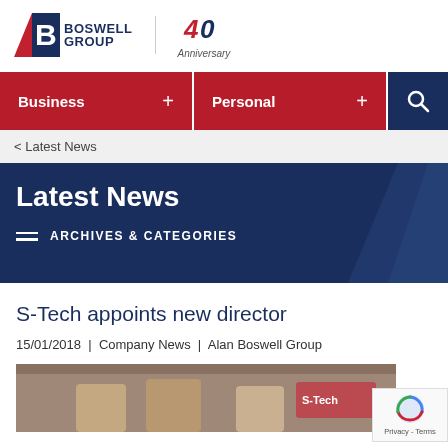[Figure (logo): Boswell Group 40th Anniversary logo with red and blue B emblem, company name, and anniversary mark]
Business + | Personal + | [Search]
< Latest News
Latest News
ARCHIVES & CATEGORIES
S-Tech appoints new director
15/01/2018  |  Company News  |  Alan Boswell Group
[Figure (photo): Partial photo showing people inside what appears to be a S-Tech office or building entrance]